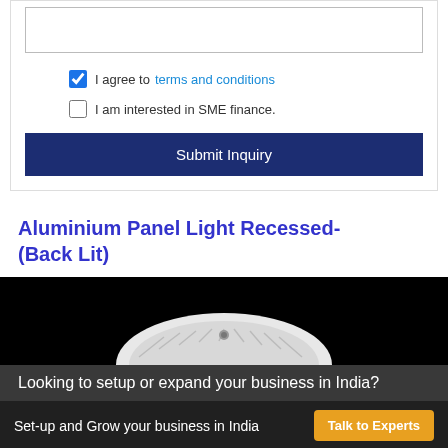I agree to terms and conditions
I am interested in SME finance.
Submit Inquiry
Aluminium Panel Light Recessed-(Back Lit)
[Figure (photo): Photo of an aluminium panel light (back lit) against a black background, showing the dome/curved shape of the light fixture from below.]
Looking to setup or expand your business in India?
Set-up and Grow your business in India
Talk to Experts